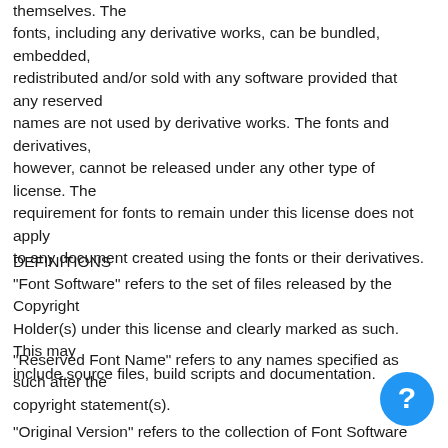themselves. The fonts, including any derivative works, can be bundled, embedded, redistributed and/or sold with any software provided that any reserved names are not used by derivative works. The fonts and derivatives, however, cannot be released under any other type of license. The requirement for fonts to remain under this license does not apply to any document created using the fonts or their derivatives.
DEFINITIONS
"Font Software" refers to the set of files released by the Copyright Holder(s) under this license and clearly marked as such. This may include source files, build scripts and documentation.
"Reserved Font Name" refers to any names specified as such after the copyright statement(s).
"Original Version" refers to the collection of Font Software